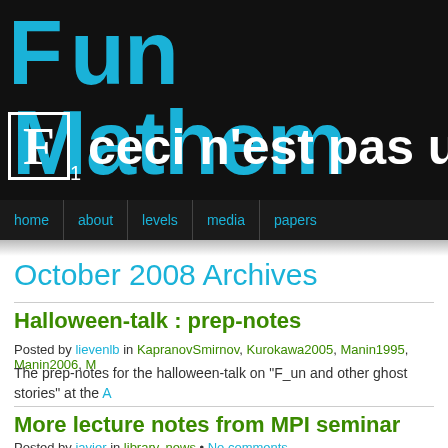[Figure (screenshot): Fun Mathematics blog header banner with dark background, large cyan 'Fun Mathem...' text, a serif F in a white bordered box with subscript 1, and white bold text 'ceci n'est pas u...']
home | about | levels | media | papers
October 2008 Archives
Halloween-talk : prep-notes
Posted by lievenlb in KapranovSmirnov, Kurokawa2005, Manin1995, Manin2006, M...
The prep-notes for the halloween-talk on "F_un and other ghost stories" at the A...
More lecture notes from MPI seminar
Posted by javier in library, news • No comments